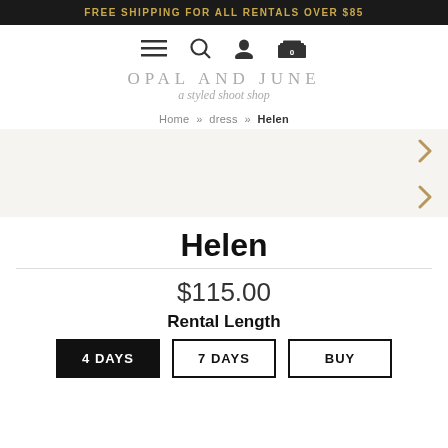FREE SHIPPING FOR ALL RENTALS OVER $85
[Figure (logo): Navigation icons: hamburger menu, search, user profile, shopping bag with 0]
[Figure (logo): Opal and June logo - a styled shoot shop]
Home » dress » Helen
[Figure (other): Product image area with right chevron navigation arrows]
Helen
$115.00
Rental Length
4 DAYS  7 DAYS  BUY